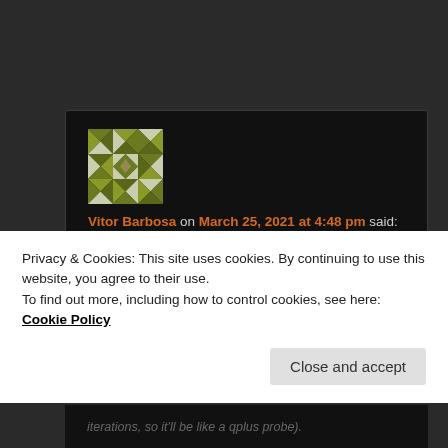[Figure (illustration): Geometric quilt-pattern avatar image with olive green and white triangles and diamond shapes on a dark background]
Vitor Barbosa on March 25, 2021 at 4:48 pm said:
Hello Dan,

Last year I've finished an AFM module for the STM, based on
Privacy & Cookies: This site uses cookies. By continuing to use this website, you agree to their use.
To find out more, including how to control cookies, see here: Cookie Policy
Close and accept
iterations, so it'll be like a qplus probe).